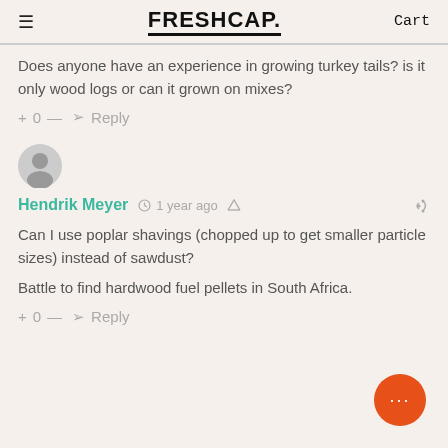FRESHCaP  Cart
Does anyone have an experience in growing turkey tails? is it only wood logs or can it grown on mixes?
+ 0 — Reply
[Figure (illustration): Generic user avatar circle icon]
Hendrik Meyer  1 year ago
Can I use poplar shavings (chopped up to get smaller particle sizes) instead of sawdust?

Battle to find hardwood fuel pellets in South Africa.
+ 0 — Reply